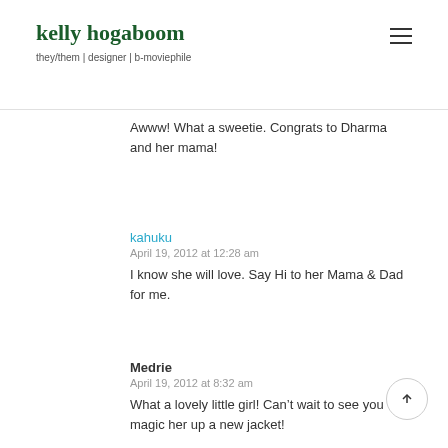kelly hogaboom
they/them | designer | b-moviephile
Awww! What a sweetie. Congrats to Dharma and her mama!
kahuku
April 19, 2012 at 12:28 am
I know she will love. Say Hi to her Mama & Dad for me.
Medrie
April 19, 2012 at 8:32 am
What a lovely little girl! Can't wait to see you magic her up a new jacket!